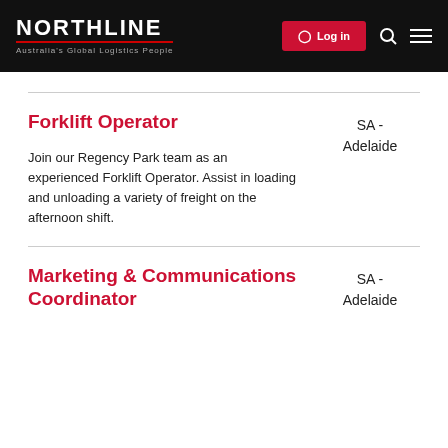NORTHLINE | Australia's Global Logistics People | Log in
Forklift Operator
SA - Adelaide
Join our Regency Park team as an experienced Forklift Operator. Assist in loading and unloading a variety of freight on the afternoon shift.
Marketing & Communications Coordinator
SA - Adelaide